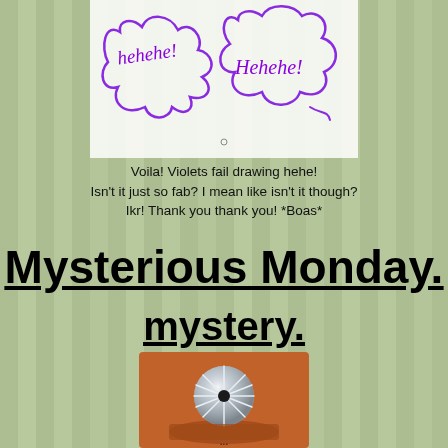[Figure (illustration): Handwritten purple script letters reading 'hehehe! Hehehe!' inside a white box with purple marker doodles/outlines on a bamboo forest background]
Voila! Violets fail drawing hehe!
Isn't it just so fab? I mean like isn't it though?
Ikr! Thank you thank you! *Boas*
Mysterious Monday.
mystery.
[Figure (photo): Photo of a metallic/chrome spiky round object (possibly a Naruto headband or similar anime item) resting on an orange/brown surface]
...